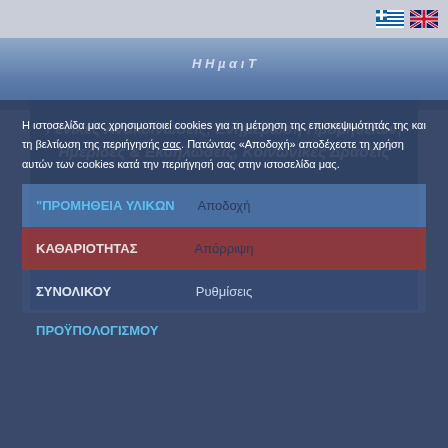[Figure (screenshot): Greek government website header with language flags (Greek and UK) in top right corner, and a blue hero section with italic bold Greek text about announcements, procurement, events and social actions over a water/sea background image.]
Γενικές Ανακοινώσεις, Ενημέρωση Προμηθειών, Ημερίδες & Εκδηλώσεις, Κοινωνικές Δράσεις
Η ιστοσελίδα μας χρησιμοποιεί cookies για τη μέτρηση της επισκεψιμότητάς της και τη βελτίωση της περιήγησής σας. Πατώντας «Αποδοχή» αποδέχεστε τη χρήση αυτών των cookies κατά την περιήγησή σας στην ιστοσελίδα μας.
Αποδοχή
"ΠΡΟΜΗΘΕΙΑ ΥΛΙΚΩΝ
Απόρριψη
ΚΑΘΑΡΙΟΤΗΤΑΣ
Ρυθμίσεις
ΣΥΝΟΛΙΚΟΥ
ΠΡΟΫΠΟΛΟΓΙΣΜΟΥ